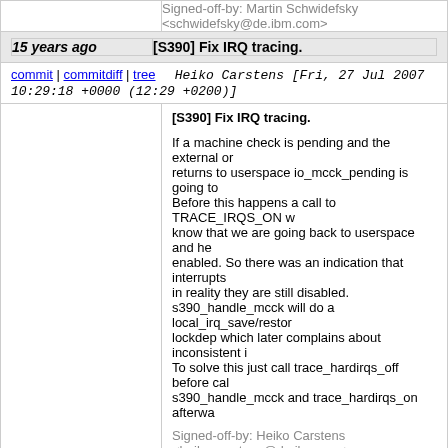Signed-off-by: Martin Schwidefsky <schwidefsky@de.ibm.com>
15 years ago | [S390] Fix IRQ tracing.
commit | commitdiff | tree   Heiko Carstens [Fri, 27 Jul 2007 10:29:18 +0000 (12:29 +0200)]
[S390] Fix IRQ tracing.

If a machine check is pending and the external or returns to userspace io_mcck_pending is going to Before this happens a call to TRACE_IRQS_ON w know that we are going back to userspace and he enabled. So there was an indication that interrupts in reality they are still disabled.
s390_handle_mcck will do a local_irq_save/restor lockdep which later complains about inconsistent i To solve this just call trace_hardirqs_off before cal s390_handle_mcck and trace_hardirqs_on afterwa

Signed-off-by: Heiko Carstens <heiko.carstens@de.ibm.com>
Signed-off-by: Martin Schwidefsky <schwidefsky@de.ibm.com>
15 years ago | [S390] vmur: fix diag14_read.
commit | commitdiff | tree   Frank Munzert [Fri, 27 Jul 2007 10:29:17 +0000 (12:29 +0200)]